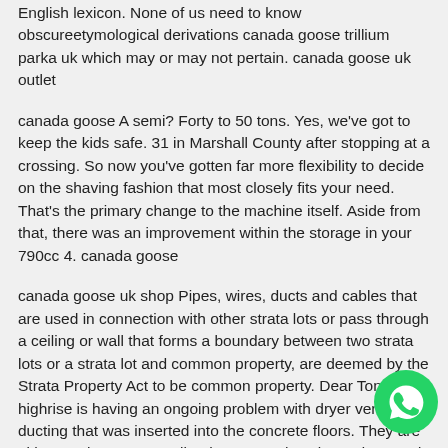English lexicon. None of us need to know obscureetymological derivations canada goose trillium parka uk which may or may not pertain. canada goose uk outlet
canada goose A semi? Forty to 50 tons. Yes, we've got to keep the kids safe. 31 in Marshall County after stopping at a crossing. So now you've gotten far more flexibility to decide on the shaving fashion that most closely fits your need. That's the primary change to the machine itself. Aside from that, there was an improvement within the storage in your 790cc 4. canada goose
canada goose uk shop Pipes, wires, ducts and cables that are used in connection with other strata lots or pass through a ceiling or wall that forms a boundary between two strata lots or a strata lot and common property, are deemed by the Strata Property Act to be common property. Dear Tony: Our highrise is having an ongoing problem with dryer vents and ducting that was inserted into the concrete floors. They are either too long, too small or have somehow been damaged canada goose black friday deals 2019 during construction. canada goose uk shop
[Figure (logo): WhatsApp green circular button icon in bottom right corner]